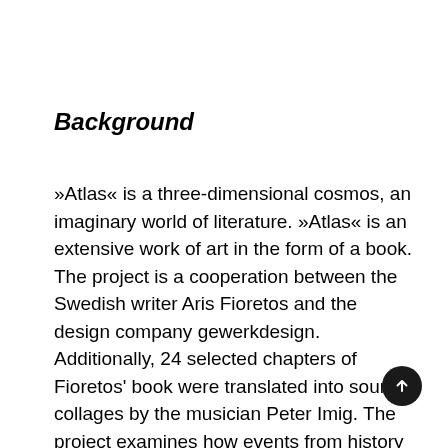Background
»Atlas« is a three-dimensional cosmos, an imaginary world of literature. »Atlas« is an extensive work of art in the form of a book. The project is a cooperation between the Swedish writer Aris Fioretos and the design company gewerkdesign. Additionally, 24 selected chapters of Fioretos' book were translated into sound collages by the musician Peter Imig. The project examines how events from history can be converted into